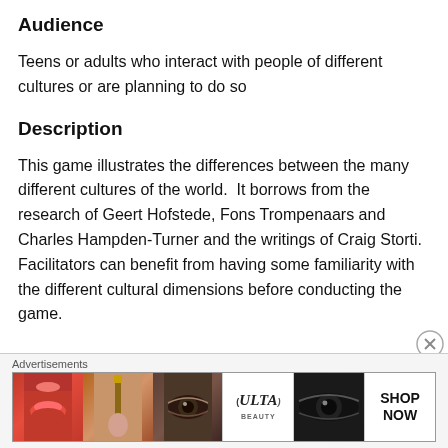Audience
Teens or adults who interact with people of different cultures or are planning to do so
Description
This game illustrates the differences between the many different cultures of the world.  It borrows from the research of Geert Hofstede, Fons Trompenaars and Charles Hampden-Turner and the writings of Craig Storti. Facilitators can benefit from having some familiarity with the different cultural dimensions before conducting the game.
[Figure (photo): Advertisement banner showing ULTA beauty products with close-up images of lips, makeup brush, eyes, ULTA logo, and SHOP NOW call to action]